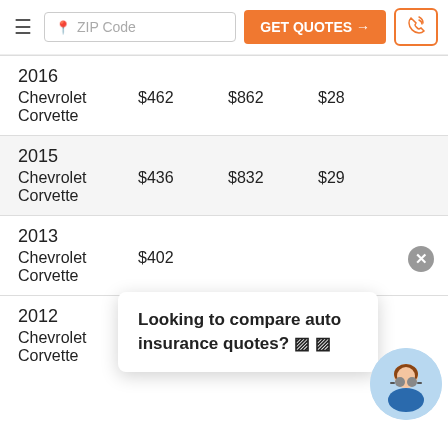ZIP Code | GET QUOTES →
| Year/Model | Col2 | Col3 | Col4 |
| --- | --- | --- | --- |
| 2016 Chevrolet Corvette | $462 | $862 | $28... |
| 2015 Chevrolet Corvette | $436 | $832 | $29... |
| 2013 Chevrolet Corvette | $402 |  |  |
| 2012 Chevrolet Corvette | $386 | $652 |  |
Looking to compare auto insurance quotes? 🔍 🔍